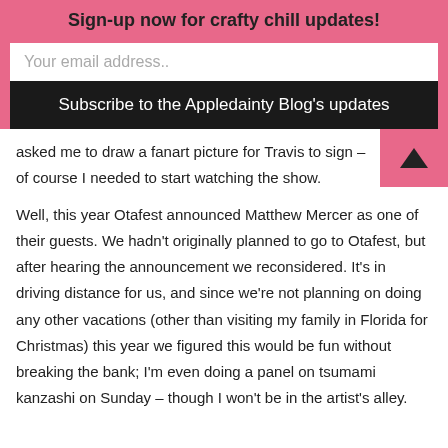Sign-up now for crafty chill updates!
Your email address..
Subscribe to the Appledainty Blog's updates
asked me to draw a fanart picture for Travis to sign – of course I needed to start watching the show.
Well, this year Otafest announced Matthew Mercer as one of their guests. We hadn't originally planned to go to Otafest, but after hearing the announcement we reconsidered. It's in driving distance for us, and since we're not planning on doing any other vacations (other than visiting my family in Florida for Christmas) this year we figured this would be fun without breaking the bank; I'm even doing a panel on tsumami kanzashi on Sunday – though I won't be in the artist's alley.